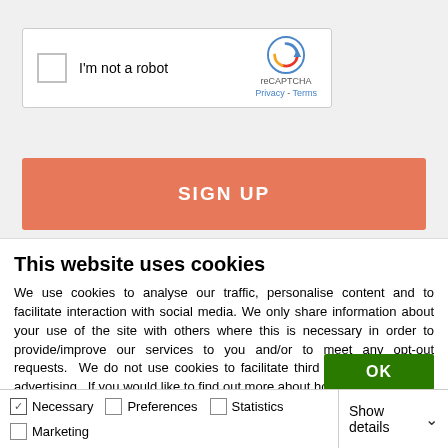[Figure (screenshot): reCAPTCHA widget with checkbox 'I'm not a robot' and reCAPTCHA logo with Privacy and Terms links]
[Figure (screenshot): Orange SIGN UP button]
This website uses cookies
We use cookies to analyse our traffic, personalise content and to facilitate interaction with social media. We only share information about your use of the site with others where this is necessary in order to provide/improve our services to you and/or to meet any opt-out requests.  We do not use cookies to facilitate third party marketing or advertising.  If you would like to find out more about how we use cookies, please visit www.charitybank.org/privacy. You can manage your cookie preferences by clicking on "show details" below.
[Figure (screenshot): Green OK button]
[Figure (screenshot): Cookie preferences bar with checkboxes: Necessary (checked), Preferences, Statistics, Marketing and Show details dropdown]